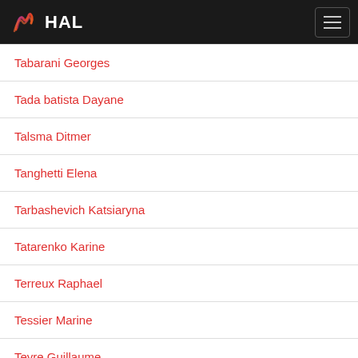HAL
Tabarani Georges
Tada batista Dayane
Talsma Ditmer
Tanghetti Elena
Tarbashevich Katsiaryna
Tatarenko Karine
Terreux Raphael
Tessier Marine
Teyre Guillaume
Thakar D